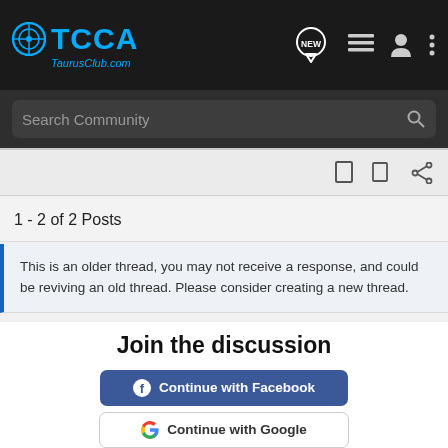TCCA TaurusClub.com
Search Community
1 - 2 of 2 Posts
This is an older thread, you may not receive a response, and could be reviving an old thread. Please consider creating a new thread.
Join the discussion
Continue with Facebook
Continue with Google